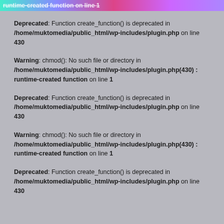runtime-created function on line 1
Deprecated: Function create_function() is deprecated in /home/muktomedia/public_html/wp-includes/plugin.php on line 430
Warning: chmod(): No such file or directory in /home/muktomedia/public_html/wp-includes/plugin.php(430) : runtime-created function on line 1
Deprecated: Function create_function() is deprecated in /home/muktomedia/public_html/wp-includes/plugin.php on line 430
Warning: chmod(): No such file or directory in /home/muktomedia/public_html/wp-includes/plugin.php(430) : runtime-created function on line 1
Deprecated: Function create_function() is deprecated in /home/muktomedia/public_html/wp-includes/plugin.php on line 430